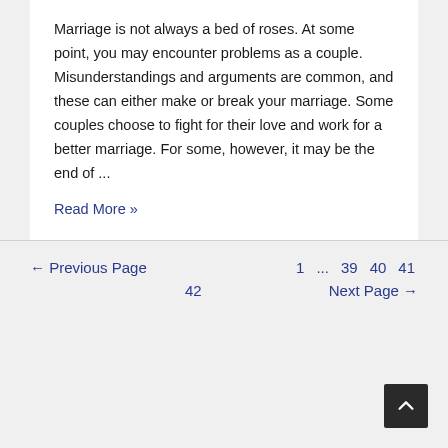Marriage is not always a bed of roses. At some point, you may encounter problems as a couple. Misunderstandings and arguments are common, and these can either make or break your marriage. Some couples choose to fight for their love and work for a better marriage. For some, however, it may be the end of ...
Read More »
← Previous Page   1  ...  39  40  41  42   Next Page →